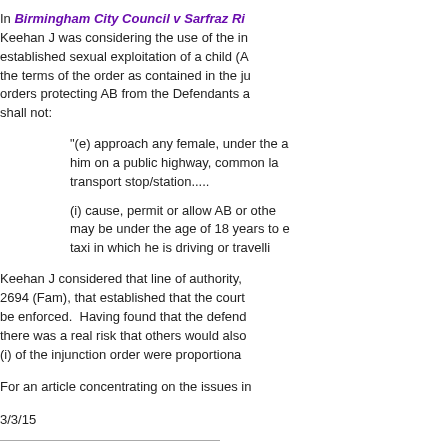In Birmingham City Council v Sarfraz Ri... Keehan J was considering the use of the in... established sexual exploitation of a child (A... the terms of the order as contained in the ju... orders protecting AB from the Defendants a... shall not:
"(e) approach any female, under the a... him on a public highway, common la... transport stop/station.....
(i) cause, permit or allow AB or othe... may be under the age of 18 years to e... taxi in which he is driving or travelli...
Keehan J considered that line of authority, ... 2694 (Fam), that established that the court ... be enforced. Having found that the defend... there was a real risk that others would also ... (i) of the injunction order were proportiona...
For an article concentrating on the issues in...
3/3/15
Keywords:   care order   children public la...